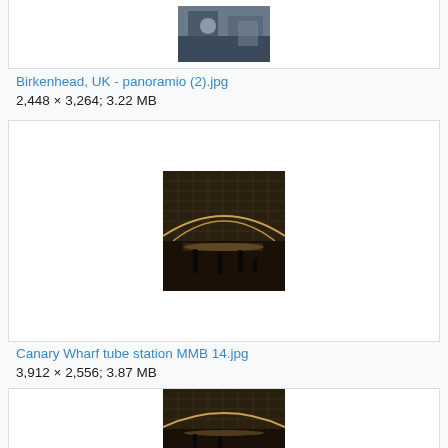[Figure (photo): Partial view of a photo thumbnail at the top of the page, cropped]
Birkenhead, UK - panoramio (2).jpg
2,448 × 3,264; 3.22 MB
[Figure (photo): Interior of Canary Wharf tube station at night, showing the large glass canopy and people walking on the concourse]
Canary Wharf tube station MMB 14.jpg
3,912 × 2,556; 3.87 MB
[Figure (photo): Interior of Canary Wharf tube station, similar view showing the glass canopy structure with people and lighting]